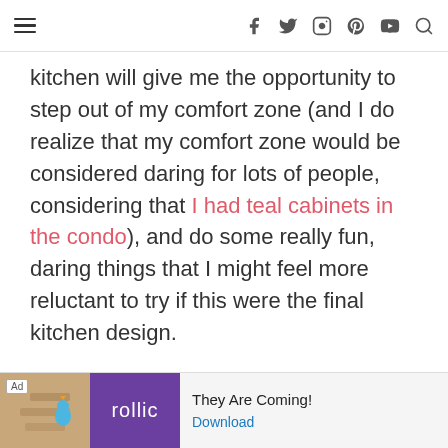≡  f  𝕏  IG  P  ▶  🔍
kitchen will give me the opportunity to step out of my comfort zone (and I do realize that my comfort zone would be considered daring for lots of people, considering that I had teal cabinets in the condo), and do some really fun, daring things that I might feel more reluctant to try if this were the final kitchen design.
[Figure (other): Advertisement banner for Rollic game - They Are Coming! with Download button]